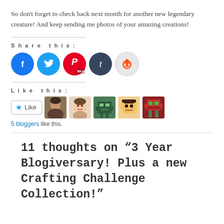So don't forget to check back next month for another new legendary creature! And keep sending me photos of your amazing creations!
[Figure (infographic): Share this section with social media icons: Facebook (blue circle with F), Twitter (blue circle with bird), Pinterest (red circle with P and 9K+), Tumblr (dark circle with t), Reddit (light gray circle with alien icon)]
[Figure (infographic): Like this section with a Like button (star icon) and 5 blogger avatars shown as small square photos]
5 bloggers like this.
11 thoughts on “3 Year Blogiversary! Plus a new Crafting Challenge Collection!”